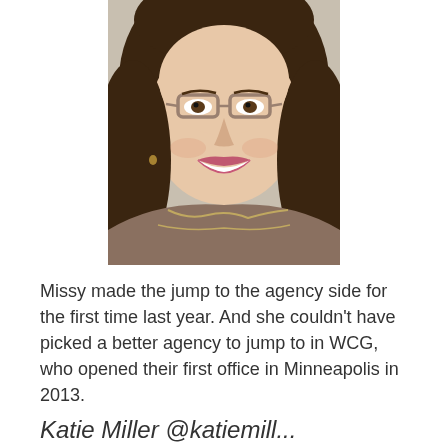[Figure (photo): Portrait photo of a smiling woman with dark curly hair, wearing glasses and a patterned top, cropped from shoulders up]
Missy made the jump to the agency side for the first time last year. And she couldn't have picked a better agency to jump to in WCG, who opened their first office in Minneapolis in 2013.
Katie Miller @katiemill...